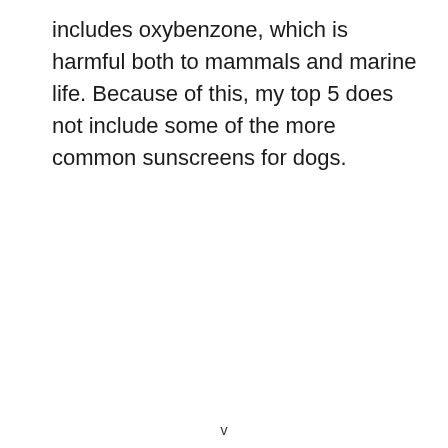includes oxybenzone, which is harmful both to mammals and marine life. Because of this, my top 5 does not include some of the more common sunscreens for dogs.
v